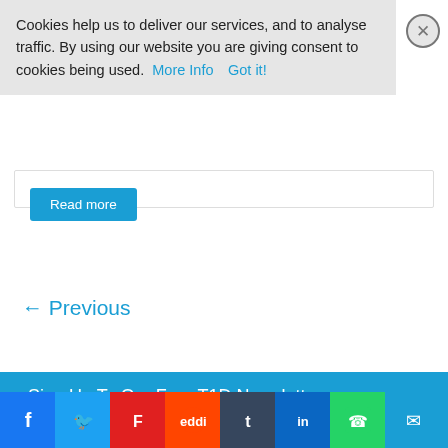Cookies help us to deliver our services, and to analyse traffic. By using our website you are giving consent to cookies being used. More Info Got it!
Read more
← Previous
Sign Up To Our Free T1D Newsletter
Join Our FREE Type 1 Diabetes Newsletter
Enter your email
[Figure (screenshot): Social media share bar with icons: Facebook, Twitter, Flipboard, Reddit, Tumblr, LinkedIn, WhatsApp, Email, Plus, and a blank/share button]